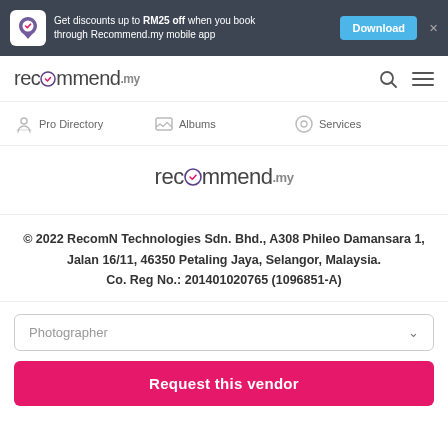Get discounts up to RM25 off when you book through Recommend.my mobile app — Download
[Figure (logo): recommend.my navigation logo with search and menu icons]
[Figure (logo): Recommend.my navigation bar with Pro Directory, Albums, Services]
[Figure (logo): recommend.my centered logo]
© 2022 RecomN Technologies Sdn. Bhd., A308 Phileo Damansara 1, Jalan 16/11, 46350 Petaling Jaya, Selangor, Malaysia.
Co. Reg No.: 201401020765 (1096851-A)
Photographer
Request this vendor